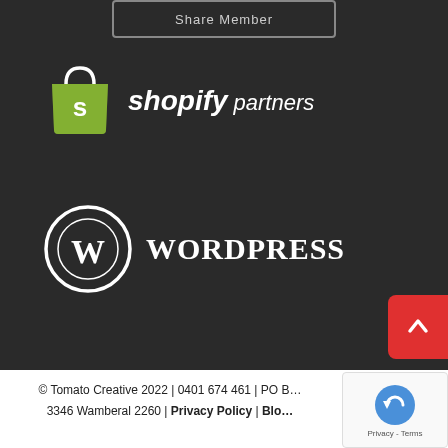[Figure (logo): Partial button at top with text 'Share Member' on dark background]
[Figure (logo): Shopify Partners logo — green shopping bag icon with 'S' and 'shopify partners' text in white on dark background]
[Figure (logo): WordPress logo — circular W emblem and 'WORDPRESS' text in white on dark background]
© Tomato Creative 2022 | 0401 674 461 | PO B… 3346 Wamberal 2260 | Privacy Policy | Blo…